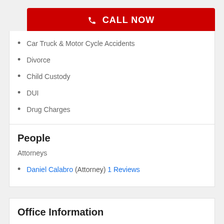[Figure (other): Red CALL NOW button with phone icon]
Car Truck & Motor Cycle Accidents
Divorce
Child Custody
DUI
Drug Charges
People
Attorneys
Daniel Calabro (Attorney) 1 Reviews
Office Information